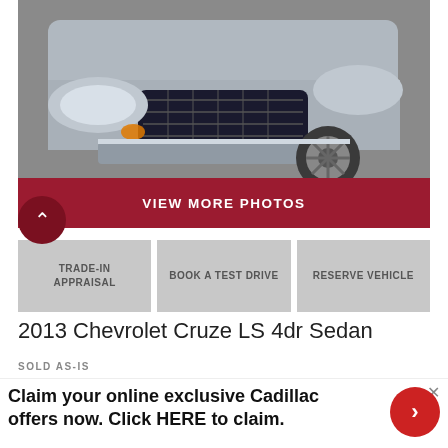[Figure (photo): Front view of a silver Chevrolet Cruze sedan, showing the front grille, headlights, and wheel on asphalt.]
VIEW MORE PHOTOS
TRADE-IN APPRAISAL
BOOK A TEST DRIVE
RESERVE VEHICLE
2013 Chevrolet Cruze LS 4dr Sedan
SOLD AS-IS
Claim your online exclusive Cadillac offers now. Click HERE to claim.